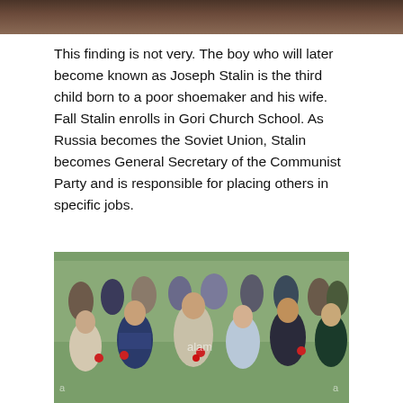[Figure (photo): Top cropped portion of an image showing dark brown/wood tones, partial view of an indoor scene]
This finding is not very. The boy who will later become known as Joseph Stalin is the third child born to a poor shoemaker and his wife. Fall Stalin enrolls in Gori Church School. As Russia becomes the Soviet Union, Stalin becomes General Secretary of the Communist Party and is responsible for placing others in specific jobs.
[Figure (photo): A crowd of elderly people, many holding red carnations, walking in a procession outdoors. People are dressed in formal attire; some wear military caps. Alamy stock photo watermark visible.]